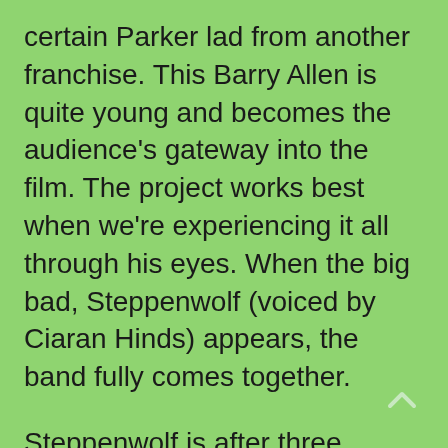certain Parker lad from another franchise. This Barry Allen is quite young and becomes the audience's gateway into the film. The project works best when we're experiencing it all through his eyes. When the big bad, Steppenwolf (voiced by Ciaran Hinds) appears, the band fully comes together.
Steppenwolf is after three artifacts called mother boxes. They are alien in origin and are extremely destructive if brought together. They have been entrusted to three groups